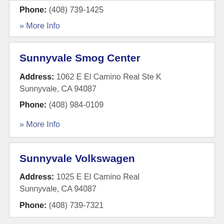Phone: (408) 739-1425
» More Info
Sunnyvale Smog Center
Address: 1062 E El Camino Real Ste K Sunnyvale, CA 94087
Phone: (408) 984-0109
» More Info
Sunnyvale Volkswagen
Address: 1025 E El Camino Real Sunnyvale, CA 94087
Phone: (408) 739-7321